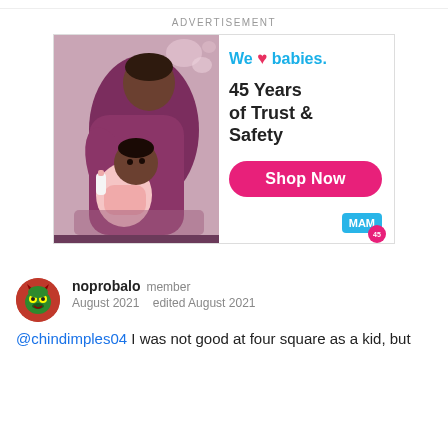ADVERTISEMENT
[Figure (infographic): MAM baby products advertisement showing an adult feeding a baby with a bottle. Text reads: We love babies. 45 Years of Trust & Safety. Shop Now button. MAM logo.]
noprobalo member
August 2021    edited August 2021
@chindimples04 I was not good at four square as a kid, but